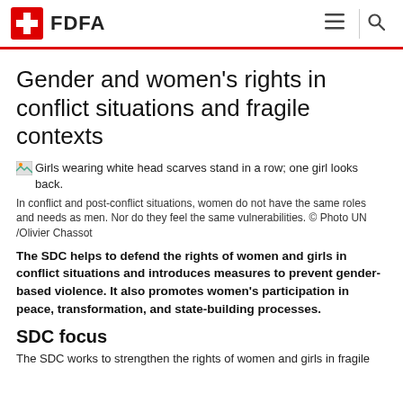FDFA
Gender and women's rights in conflict situations and fragile contexts
[Figure (photo): Girls wearing white head scarves stand in a row; one girl looks back.]
In conflict and post-conflict situations, women do not have the same roles and needs as men. Nor do they feel the same vulnerabilities. © Photo UN /Olivier Chassot
The SDC helps to defend the rights of women and girls in conflict situations and introduces measures to prevent gender-based violence. It also promotes women's participation in peace, transformation, and state-building processes.
SDC focus
The SDC works to strengthen the rights of women and girls in fragile